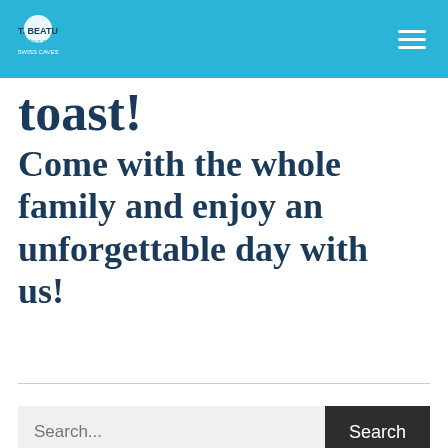ST. BEATUS-HÖHLEN SWISS CAVES
toast!
Come with the whole family and enjoy an unforgettable day with us!
Search...
RECENT POSTS
Höhlenklang 16.06.22